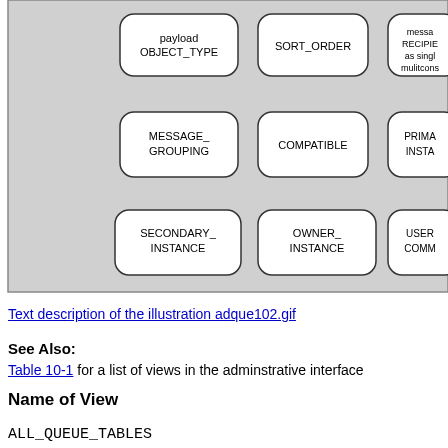[Figure (schematic): Partial database schema diagram showing rounded-rectangle node boxes on a gray background. Visible nodes include: payload OBJECT_TYPE, SORT_ORDER, message RECIPIENT as single/multirons (partially visible), MESSAGE_GROUPING, COMPATIBLE, PRIMA INSTA (partially visible), SECONDARY_INSTANCE, OWNER_INSTANCE, USER COMM (partially visible).]
Text description of the illustration adque102.gif
See Also:
Table 10-1 for a list of views in the adminstrative interface
Name of View
ALL_QUEUE_TABLES